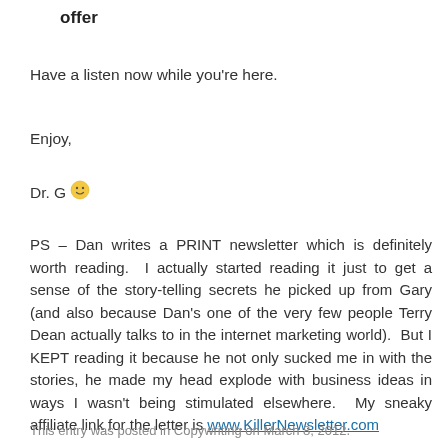offer
Have a listen now while you're here.
Enjoy,
Dr. G 🙂
PS – Dan writes a PRINT newsletter which is definitely worth reading.  I actually started reading it just to get a sense of the story-telling secrets he picked up from Gary (and also because Dan's one of the very few people Terry Dean actually talks to in the internet marketing world).  But I KEPT reading it because he not only sucked me in with the stories, he made my head explode with business ideas in ways I wasn't being stimulated elsewhere.  My sneaky affiliate link for the letter is www.KillerNewsletter.com
This entry was posted in Copywriting on March 8, 2012.